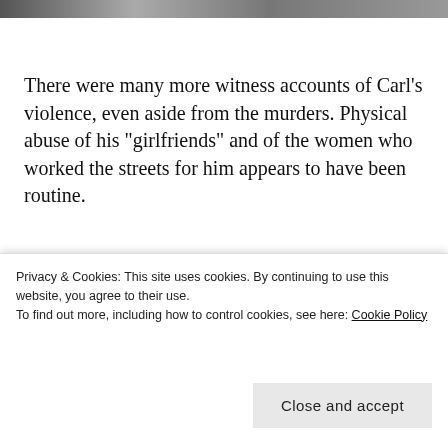[Figure (photo): Partial photo strip at top of page, grayscale]
There were many more witness accounts of Carl’s violence, even aside from the murders. Physical abuse of his “girlfriends” and of the women who worked the streets for him appears to have been routine.
‘She [Karen] told me when I first
Privacy & Cookies: This site uses cookies. By continuing to use this website, you agree to their use.
To find out more, including how to control cookies, see here: Cookie Policy
Close and accept